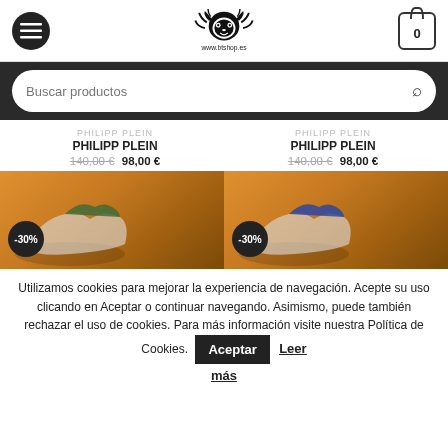[Figure (screenshot): Website header with hamburger menu button, BTShop lion logo with www.btshop.es text, and shopping cart icon showing 0 items]
[Figure (screenshot): Dark search bar with rounded white search input reading 'Buscar productos' and a search icon]
PHILIPP PLEIN
PHILIPP PLEIN
140,00 € 98,00 €
PHILIPP PLEIN
PHILIPP PLEIN
140,00 € 98,00 €
[Figure (photo): Product shoe image on brown leather background with -30% discount badge, left product]
[Figure (photo): Product shoe image on brown leather background with -30% discount badge, right product]
Utilizamos cookies para mejorar la experiencia de navegación. Acepte su uso clicando en Aceptar o continuar navegando. Asimismo, puede también rechazar el uso de cookies. Para más información visite nuestra Política de Cookies.
Aceptar
Leer más